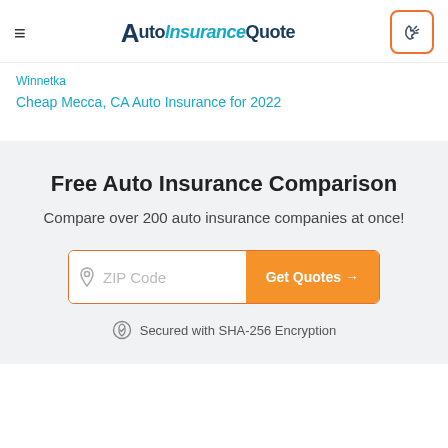AutoInsuranceQuote [logo with hamburger menu and phone button]
Winnetka
Cheap Mecca, CA Auto Insurance for 2022
Free Auto Insurance Comparison
Compare over 200 auto insurance companies at once!
ZIP Code | Get Quotes →
Secured with SHA-256 Encryption